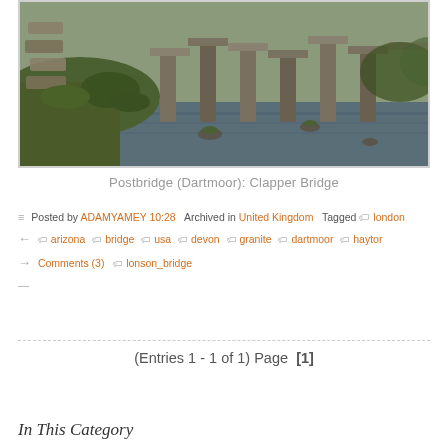[Figure (photo): Photograph of Postbridge Dartmoor Clapper Bridge — a stone bridge made of large granite slabs on upright stone pillars spanning a moorland stream, with grassy banks and stepping stones on the left.]
Postbridge (Dartmoor): Clapper Bridge
Posted by ADAMYAMEY 10:28   Archived in United Kingdom   Tagged  london  arizona  bridge  usa  devon  granite  dartmoor  haytor  Comments (3)  lonson_bridge
(Entries 1 - 1 of 1) Page  [1]
In This Category